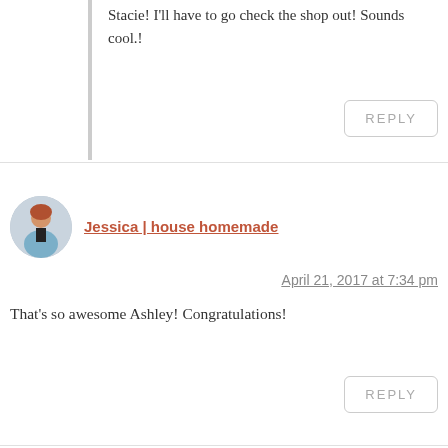Stacie! I'll have to go check the shop out! Sounds cool.!
REPLY
Jessica | house homemade
April 21, 2017 at 7:34 pm
That's so awesome Ashley! Congratulations!
REPLY